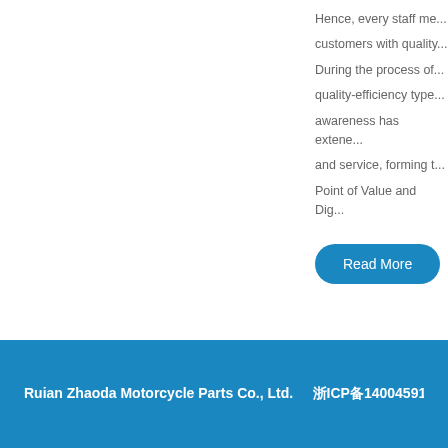Hence, every staff me... customers with quality... During the process of... quality-efficiency type... awareness has extene... and service, forming t... Point of Value and Dig...
Read More
Ruian Zhaoda Motorcycle Parts Co., Ltd.    浙ICP备14004591号-1  Pow...